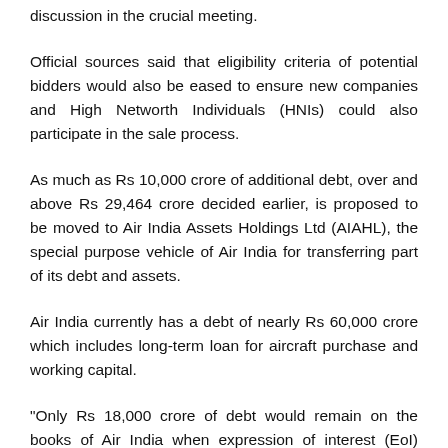discussion in the crucial meeting.
Official sources said that eligibility criteria of potential bidders would also be eased to ensure new companies and High Networth Individuals (HNIs) could also participate in the sale process.
As much as Rs 10,000 crore of additional debt, over and above Rs 29,464 crore decided earlier, is proposed to be moved to Air India Assets Holdings Ltd (AIAHL), the special purpose vehicle of Air India for transferring part of its debt and assets.
Air India currently has a debt of nearly Rs 60,000 crore which includes long-term loan for aircraft purchase and working capital.
"Only Rs 18,000 crore of debt would remain on the books of Air India when expression of interest (EoI) would be invited and preliminary information memorandum (PIM) would be issued,"